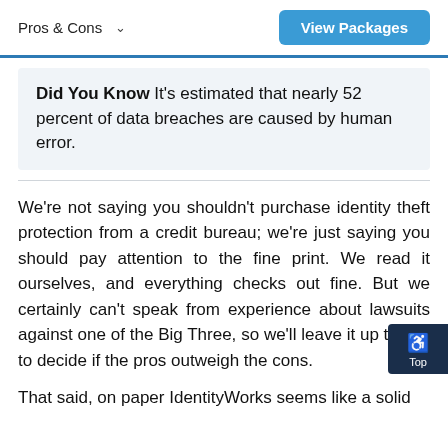Pros & Cons  View Packages
Did You Know It's estimated that nearly 52 percent of data breaches are caused by human error.
We're not saying you shouldn't purchase identity theft protection from a credit bureau; we're just saying you should pay attention to the fine print. We read it ourselves, and everything checks out fine. But we certainly can't speak from experience about lawsuits against one of the Big Three, so we'll leave it up to you to decide if the pros outweigh the cons.
That said, on paper IdentityWorks seems like a solid